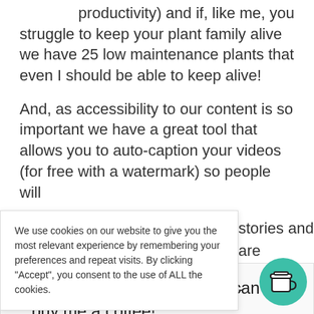productivity) and if, like me, you struggle to keep your plant family alive we have 25 low maintenance plants that even I should be able to keep alive!
And, as accessibility to our content is so important we have a great tool that allows you to auto-caption your videos (for free with a watermark) so people will [stories and] [are] [aring or have]
We use cookies on our website to give you the most relevant experience by remembering your preferences and repeat visits. By clicking "Accept", you consent to the use of ALL the cookies.
Thank you for visiting. You can now buy me a coffee!